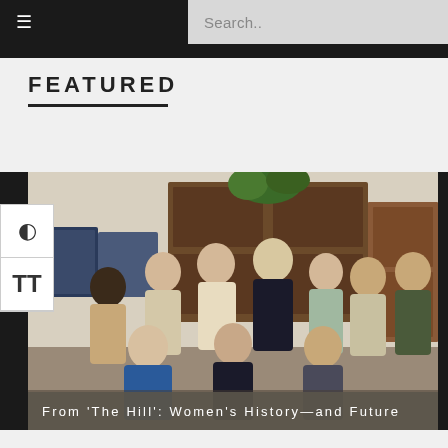≡  Search..
FEATURED
[Figure (photo): Group photo of approximately 12 women posing together in an office setting with a wooden bookcase in the background. Some are standing, three are seated in front. Women are dressed in business attire.]
From 'The Hill': Women's History—and Future